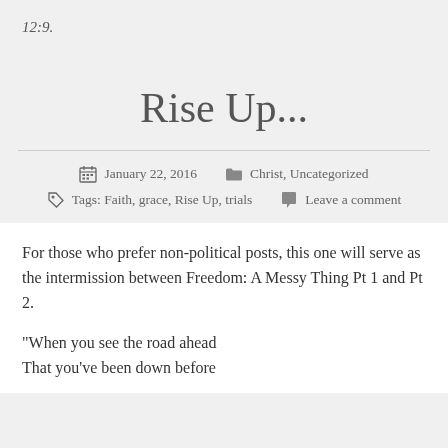12:9.
Rise Up...
January 22, 2016   Christ, Uncategorized   Tags: Faith, grace, Rise Up, trials   Leave a comment
For those who prefer non-political posts, this one will serve as the intermission between Freedom: A Messy Thing Pt 1 and Pt 2.
“When you see the road ahead
That you’ve been down before